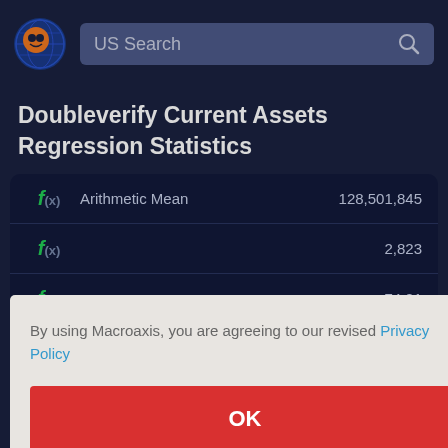US Search
Doubleverify Current Assets Regression Statistics
| Metric | Value |
| --- | --- |
| Arithmetic Mean | 128,501,845 |
|  | 2,823 |
|  | 74.01 |
|  | 4,377 |
| Median | 85,235,000 |
By using Macroaxis, you are agreeing to our revised Privacy Policy
OK